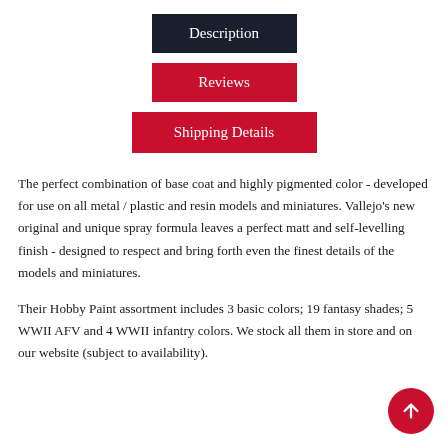Description
Reviews
Shipping Details
The perfect combination of base coat and highly pigmented color - developed for use on all metal / plastic and resin models and miniatures. Vallejo's new original and unique spray formula leaves a perfect matt and self-levelling finish - designed to respect and bring forth even the finest details of the models and miniatures.
Their Hobby Paint assortment includes 3 basic colors; 19 fantasy shades; 5 WWII AFV and 4 WWII infantry colors. We stock all them in store and on our website (subject to availability).